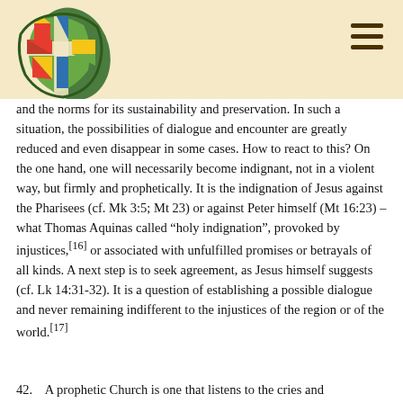United Methodist Church logo and navigation
and the norms for its sustainability and preservation. In such a situation, the possibilities of dialogue and encounter are greatly reduced and even disappear in some cases. How to react to this? On the one hand, one will necessarily become indignant, not in a violent way, but firmly and prophetically. It is the indignation of Jesus against the Pharisees (cf. Mk 3:5; Mt 23) or against Peter himself (Mt 16:23) – what Thomas Aquinas called “holy indignation”, provoked by injustices,[16] or associated with unfulfilled promises or betrayals of all kinds. A next step is to seek agreement, as Jesus himself suggests (cf. Lk 14:31-32). It is a question of establishing a possible dialogue and never remaining indifferent to the injustices of the region or of the world.[17]
42.   A prophetic Church is one that listens to the cries and